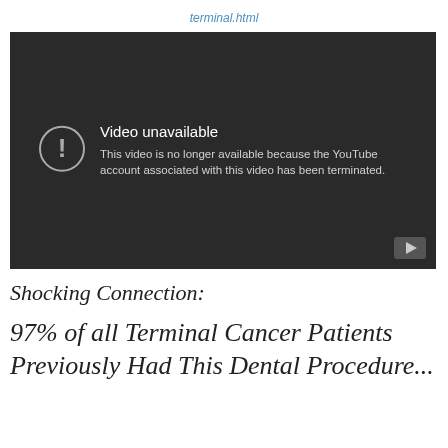terminal.html
[Figure (screenshot): YouTube video unavailable screen with dark background showing error message: 'Video unavailable. This video is no longer available because the YouTube account associated with this video has been terminated.']
Shocking Connection:

97% of all Terminal Cancer Patients Previously Had This Dental Procedure...